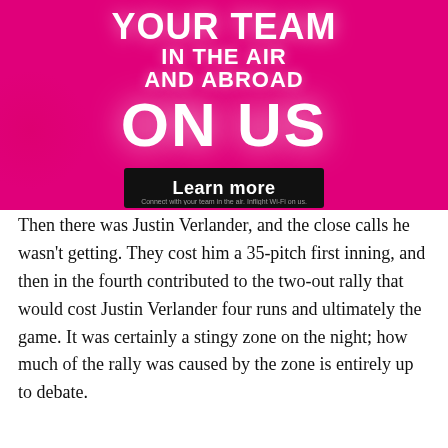[Figure (infographic): Magenta/pink advertisement banner with white bold text reading 'YOUR TEAM IN THE AIR AND ABROAD ON US' and a black 'Learn more' button]
Connect with your team in the air. Inflight Wi-Fi on us.
Then there was Justin Verlander, and the close calls he wasn't getting. They cost him a 35-pitch first inning, and then in the fourth contributed to the two-out rally that would cost Justin Verlander four runs and ultimately the game. It was certainly a stingy zone on the night; how much of the rally was caused by the zone is entirely up to debate.